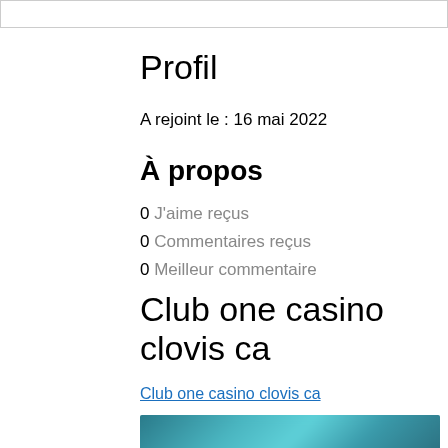Profil
A rejoint le : 16 mai 2022
À propos
0 J'aime reçus
0 Commentaires reçus
0 Meilleur commentaire
Club one casino clovis ca
Club one casino clovis ca
[Figure (photo): Blurred image preview of casino-related content with teal/blue tones]